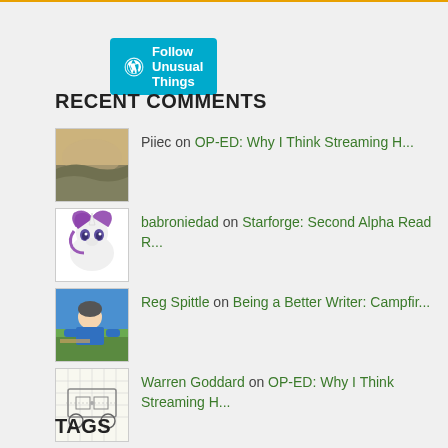[Figure (other): Follow Unusual Things button with WordPress logo]
RECENT COMMENTS
Piiec on OP-ED: Why I Think Streaming H...
babroniedad on Starforge: Second Alpha Read R...
Reg Spittle on Being a Better Writer: Campfir...
Warren Goddard on OP-ED: Why I Think Streaming H...
anon on OP-ED: Why I Think Streaming H...
TAGS